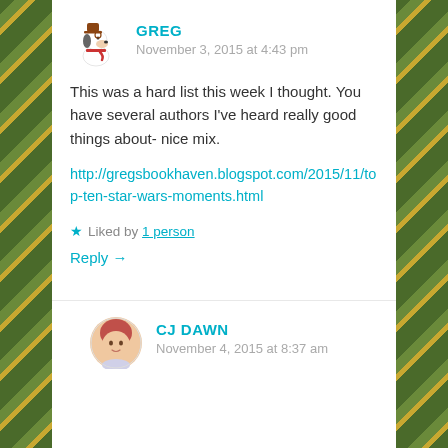[Figure (illustration): Avatar of Snoopy character (from Peanuts) used as commenter profile image]
GREG
November 3, 2015 at 4:43 pm
This was a hard list this week I thought. You have several authors I've heard really good things about- nice mix.
http://gregsbookhaven.blogspot.com/2015/11/top-ten-star-wars-moments.html
★ Liked by 1 person
Reply →
[Figure (photo): Avatar of CJ Dawn - circular profile photo showing a woman with short hair]
CJ DAWN
November 4, 2015 at 8:37 am